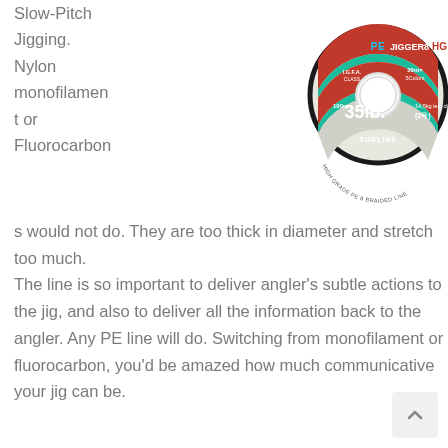Slow-Pitch Jigging. Nylon monofilament or Fluorocarbons would not do. They are too thick in diameter and stretch too much. The line is so important to deliver angler's subtle actions to the jig, and also to deliver all the information back to the angler. Any PE line will do. Switching from monofilament or fluorocarbon, you'd be amazed how much communicative your jig can be.
[Figure (photo): A spool of Sunline PE Jigger8 HG fishing line, 35lb (2号), 100m, IGFA class, 20mx5Colors, High Grade PE 8 Braided Line]